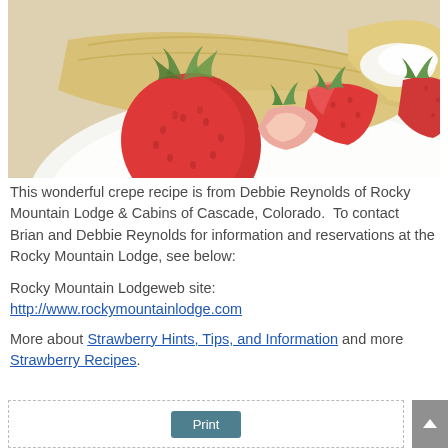[Figure (photo): Close-up photo of strawberry crepes with fresh whole strawberries, sliced strawberries, and whipped cream on a white plate]
This wonderful crepe recipe is from Debbie Reynolds of Rocky Mountain Lodge & Cabins of Cascade, Colorado.  To contact Brian and Debbie Reynolds for information and reservations at the Rocky Mountain Lodge, see below:
Rocky Mountain Lodgeweb site:
http://www.rockymountainlodge.com
More about Strawberry Hints, Tips, and Information and more Strawberry Recipes.